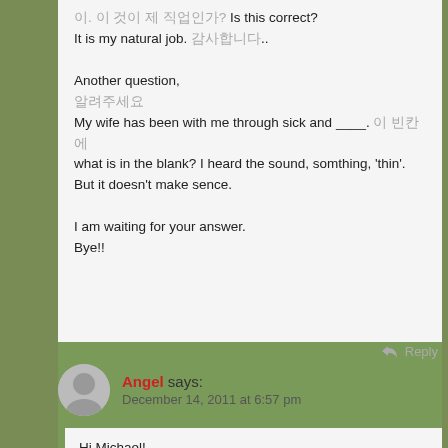이. 이 것이 제 직업인가? Is this correct?
It is my natural job. 감사합니다..

Another question,
알려주세요
My wife has been with me through sick and ____. 이 빈칸에 what is in the blank? I heard the sound, somthing, 'thin'. But it doesn't make sence.

I am waiting for your answer.
Bye!!
Reply
Angel says:
December 14, 2011 at 6:57 pm
Hi Michael!
Nice to see you, I mean, I am really glad to meet you here. It's true.
I've been teaching middle school students and winter vacation is just around the corner.